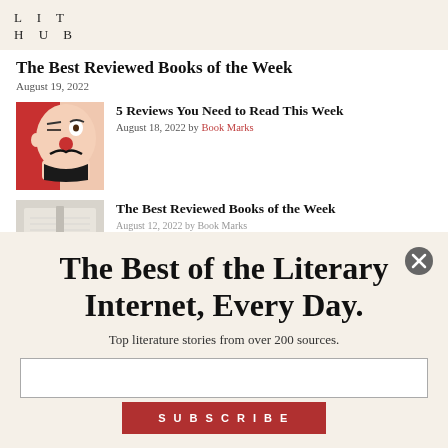LIT HUB
The Best Reviewed Books of the Week
August 19, 2022
[Figure (illustration): Illustrated face with mustache and red nose on colorful background]
5 Reviews You Need to Read This Week
August 18, 2022 by Book Marks
[Figure (photo): Photo of open books stacked]
The Best Reviewed Books of the Week
The Best of the Literary Internet, Every Day.
Top literature stories from over 200 sources.